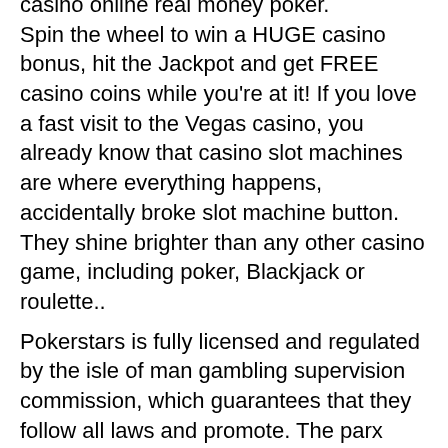casino online real money poker. Spin the wheel to win a HUGE casino bonus, hit the Jackpot and get FREE casino coins while you're at it! If you love a fast visit to the Vegas casino, you already know that casino slot machines are where everything happens, accidentally broke slot machine button. They shine brighter than any other casino game, including poker, Blackjack or roulette.. Pokerstars is fully licensed and regulated by the isle of man gambling supervision commission, which guarantees that they follow all laws and promote. The parx casino® real money online casino is officially here. Real money online casino. Play online slots &amp; casino games for real money. Ignition poker; betonline poker; everygame poker; juicy stakes poker; americas cardroom; bovada poker; blackchip poker; sportsbetting poker. (nasdaq: czr) is the largest casino-entertainment company in the